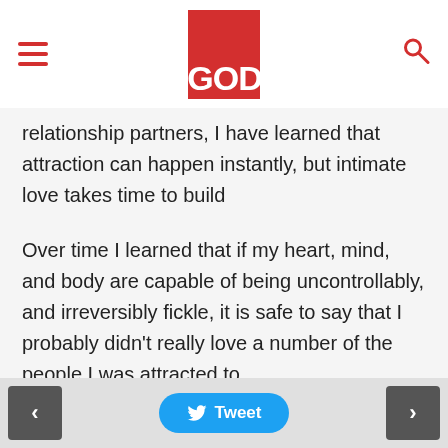GOD [logo/header]
relationship partners, I have learned that attraction can happen instantly, but intimate love takes time to build
Over time I learned that if my heart, mind, and body are capable of being uncontrollably, and irreversibly fickle, it is safe to say that I probably didn't really love a number of the people I was attracted to
Most people would agree that intimate love is built on trust, a mutual understanding of one another, commitment, and a variety of other factors. People wouldn't categorize love as something that goes away quickly, or just disappears, because someone showed up 15 minutes late to a dinner
Tweet